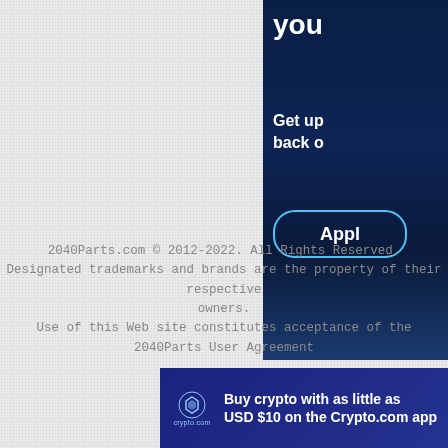[Figure (screenshot): Partial dark blue advertisement panel on the right side showing truncated text 'you', 'Get up', 'back o', and a button labeled 'Appl']
2040Parts.com © 2012-2022. All Rights Reserved.
Designated trademarks and brands are the property of their respective owners.
Use of this Web site constitutes acceptance of the 2040Parts User Agreement
[Figure (screenshot): Bottom banner advertisement for Crypto.com: 'Buy crypto with as little as USD $10 on the Crypto.com app' with Install Now button]